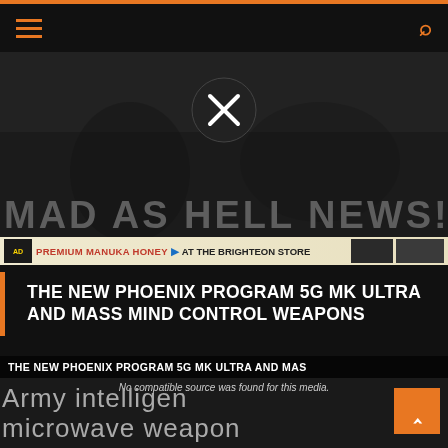Navigation bar with hamburger menu and search icon
[Figure (screenshot): MAD AS HELL NEWS hero image with dark background, X close button circle, and stylized 'MAD AS HELL NEWS!' text overlay]
[Figure (infographic): Advertisement banner: PREMIUM MANUKA HONEY at THE BRIGHTEON STORE]
THE NEW PHOENIX PROGRAM 5G MK ULTRA AND MASS MIND CONTROL WEAPONS
[Figure (screenshot): Video player showing 'THE NEW PHOENIX PROGRAM 5G MK ULTRA AND MAS' title bar with 'No compatible source was found for this media.' message, and text overlay reading 'Army intellige...' and 'microwave weapon' with orange back-to-top arrow button]